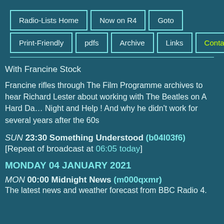Radio-Lists Home | Now on R4 | Goto | Print-Friendly | pdfs | Archive | Links | Contact
With Francine Stock
Francine rifles through The Film Programme archives to hear Richard Lester about working with The Beatles on A Hard Day's Night and Help ! And why he didn't work for several years after the 60s
SUN 23:30 Something Understood (b04l03f6)
[Repeat of broadcast at 06:05 today]
MONDAY 04 JANUARY 2021
MON 00:00 Midnight News (m000qxmr)
The latest news and weather forecast from BBC Radio 4.